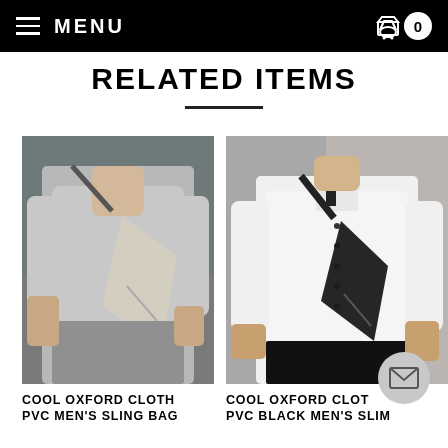MENU | 0
RELATED ITEMS
[Figure (photo): Man wearing light grey t-shirt with a light grey/beige sling bag across his chest, outdoors.]
COOL OXFORD CLOTH PVC MEN'S SLING BAG
[Figure (photo): Man wearing white shirt with a black sling bag across his chest, outdoors.]
COOL OXFORD CLOTH PVC BLACK MEN'S SLIM